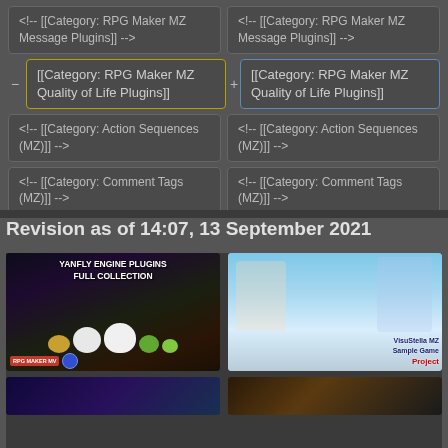[Figure (screenshot): Diff view showing two columns: left column has removed box (yellow border) with '[[Category: RPG Maker MZ Quality of Life Plugins]]', right column has added box (blue border) with same text. Above: two pairs of boxes with '<!-- [[Category: RPG Maker MZ Message Plugins]] -->' and below: two pairs with '<!-- [[Category: Action Sequences (MZ)]] -->' and '<!-- [[Category: Comment Tags (MZ)]] -->']
Revision as of 14:07, 13 September 2021
[Figure (screenshot): Two promotional images side by side: left shows 'Yanfly Engine Plugins Full Collection' with RPG Maker MV branding and cartoon creatures; right shows VisuStella MZ Sample Game Project with anime characters. Below are two more partially visible images.]